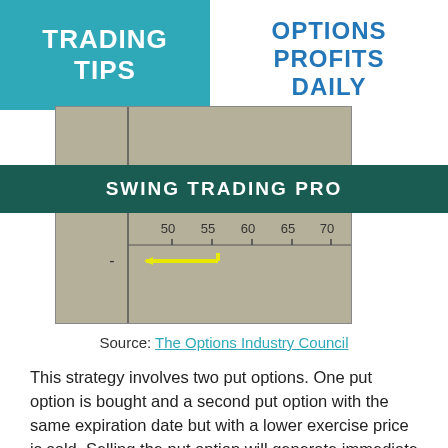TRADING TIPS
OPTIONS PROFITS DAILY
[Figure (other): Partial chart showing a scale with numbers 50, 55, 60, 65, 70 and a yellow arrow pointing left, split by the SWING TRADING PRO banner.]
SWING TRADING PRO
Source: The Options Industry Council
This strategy involves two put options. One put option is bought and a second put option with the same expiration date but with a lower exercise price is sold. Selling the put option will generate immediate income, just like the more familiar covered call strategy would. But